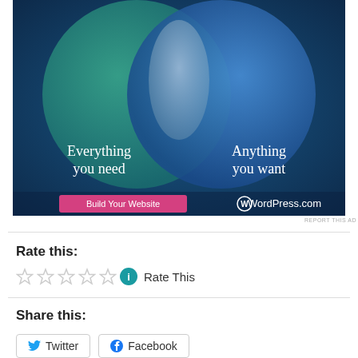[Figure (illustration): WordPress.com advertisement showing two overlapping circles (Venn diagram) on a dark blue/teal background. Left circle (teal) says 'Everything you need', right circle (blue) says 'Anything you want'. A pink button 'Build Your Website' and WordPress.com logo are at the bottom.]
REPORT THIS AD
Rate this:
Rate This
Share this:
Twitter
Facebook